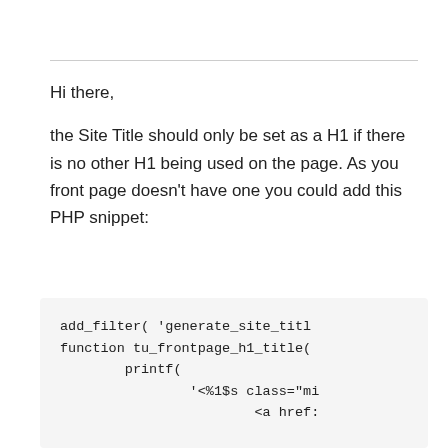Hi there,
the Site Title should only be set as a H1 if there is no other H1 being used on the page. As you front page doesn't have one you could add this PHP snippet:
add_filter( 'generate_site_titl
function tu_frontpage_h1_title(
        printf(
                '<%1$s class="mi
                        <a href:

                        </a>
                </%1$s>',
                ( is_front_page
                esc_url( apply_
                get_bloginfo( 'u
        );